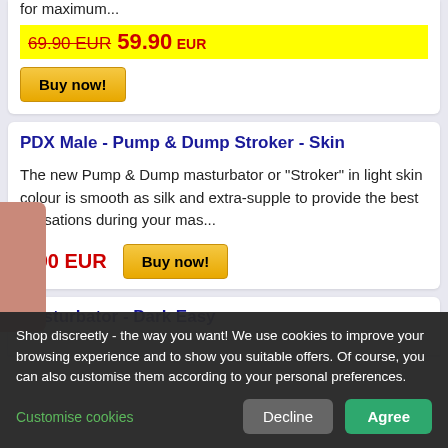for maximum...
69.90 EUR  59.90 EUR
Buy now!
PDX Male - Pump & Dump Stroker - Skin
The new Pump & Dump masturbator or "Stroker" in light skin colour is smooth as silk and extra-supple to provide the best sensations during your mas...
8.90 EUR
Buy now!
Masturbator - Dark Easy
Shop discreetly - the way you want! We use cookies to improve your browsing experience and to show you suitable offers. Of course, you can also customise them according to your personal preferences.
Customise cookies
Decline
Agree